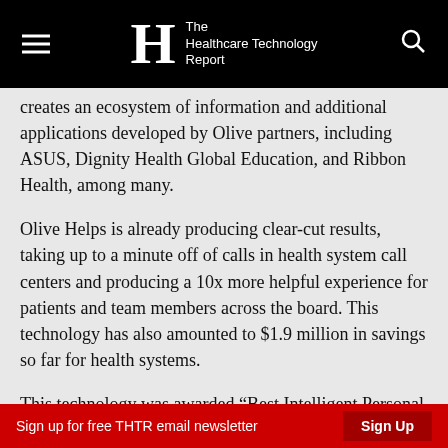The Healthcare Technology Report
creates an ecosystem of information and additional applications developed by Olive partners, including ASUS, Dignity Health Global Education, and Ribbon Health, among many.
Olive Helps is already producing clear-cut results, taking up to a minute off of calls in health system call centers and producing a 10x more helpful experience for patients and team members across the board. This technology has also amounted to $1.9 million in savings so far for health systems.
This technology was awarded “Best Intelligent Personal Assistant” by AI Breakthrough Awards and will be further implemented nationwide to better AI health system dealings in the U.S.
Sign up for free THTR email newsletter